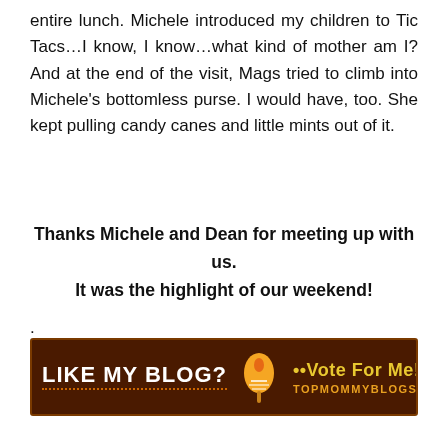entire lunch. Michele introduced my children to Tic Tacs…I know, I know…what kind of mother am I? And at the end of the visit, Mags tried to climb into Michele's bottomless purse. I would have, too. She kept pulling candy canes and little mints out of it.
Thanks Michele and Dean for meeting up with us. It was the highlight of our weekend!
.
[Figure (infographic): Dark brown banner advertisement reading 'LIKE MY BLOG?' with an egg/whisk icon and text '••Vote For Me!••' and 'TOPMOMMYBLOGS.COM' on the right side.]